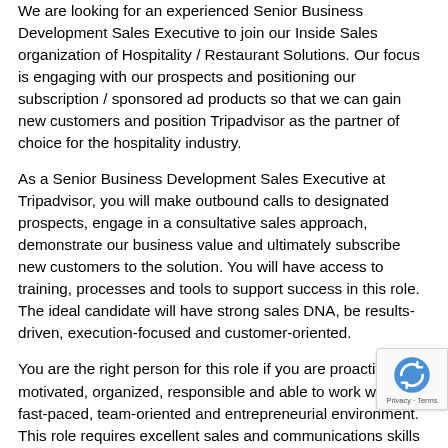We are looking for an experienced Senior Business Development Sales Executive to join our Inside Sales organization of Hospitality / Restaurant Solutions. Our focus is engaging with our prospects and positioning our subscription / sponsored ad products so that we can gain new customers and position Tripadvisor as the partner of choice for the hospitality industry.
As a Senior Business Development Sales Executive at Tripadvisor, you will make outbound calls to designated prospects, engage in a consultative sales approach, demonstrate our business value and ultimately subscribe new customers to the solution. You will have access to training, processes and tools to support success in this role. The ideal candidate will have strong sales DNA, be results-driven, execution-focused and customer-oriented.
You are the right person for this role if you are proactive, motivated, organized, responsible and able to work well in a fast-paced, team-oriented and entrepreneurial environment. This role requires excellent sales and communications skills as well as effective relationship-building talents. Beyond that, we are seeking experience in territory management as well as a strong background in sales with a track record of exceeding targets, new customer acquisition and/or business development.
Proactively engage, manage and grow designated pipeline and